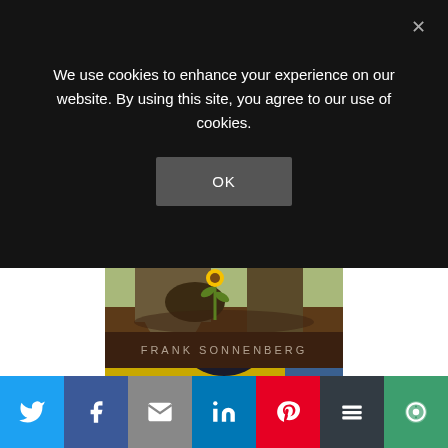We use cookies to enhance your experience on our website. By using this site, you agree to our use of cookies.
[Figure (screenshot): Cookie consent overlay with OK button and close X, dark semi-transparent background over webpage]
[Figure (illustration): Illustration of a large tree trunk with a small sunflower growing beside it, earthy tones, with 'FRANK SONNENBERG' label at bottom]
[Figure (photo): Person viewed from behind wearing a purple dunce/cone hat, standing in front of yellow striped background]
[Figure (infographic): Social share bar with buttons: Twitter (blue), Facebook (dark blue), Email (gray), LinkedIn (blue), Pinterest (red), Buffer (dark), More (green)]